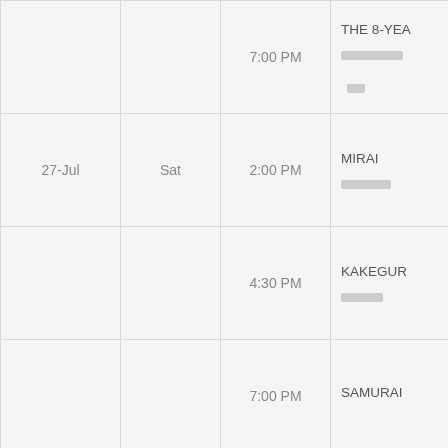| Date | Day | Time | Title |
| --- | --- | --- | --- |
|  |  | 7:00 PM | THE 8-YEA [redacted] |
| 27-Jul | Sat | 2:00 PM | MIRAI [redacted] |
|  |  | 4:30 PM | KAKEGUR [redacted] |
|  |  | 7:00 PM | SAMURAI |